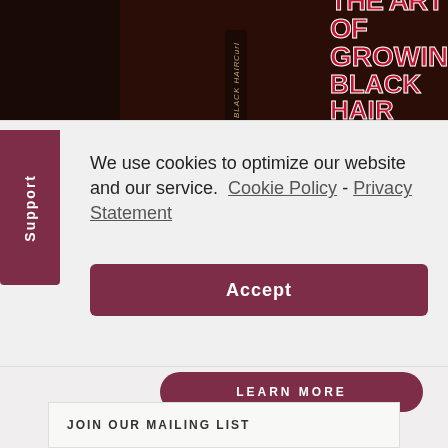[Figure (photo): Book cover of 'The Art of Growing Black Hair' shown partially, with red bold title text on dark brown background, with cursive subtitle text]
We use cookies to optimize our website and our service.  Cookie Policy  -  Privacy Statement
Accept
Support
LEARN MORE
JOIN OUR MAILING LIST